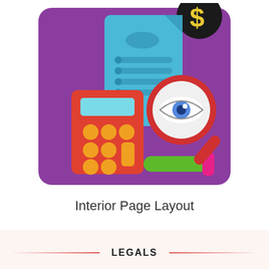[Figure (illustration): A flat-style illustration on a purple rounded rectangle background. It shows a blue document/invoice with lines and circles, a red calculator with orange circular buttons, a magnifying glass with an eye inside (audit/review metaphor), a green bar with pink accent (possibly a pen or highlighter), and a dollar sign symbol in yellow/black in the upper right corner.]
Interior Page Layout
LEGALS